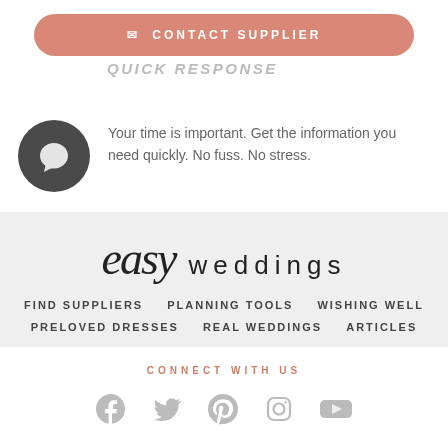✉ CONTACT SUPPLIER
QUICK RESPONSE
Your time is important. Get the information you need quickly. No fuss. No stress.
[Figure (logo): Easy Weddings logo — 'easy' in script font, 'weddings' in light sans-serif]
FIND SUPPLIERS
PLANNING TOOLS
WISHING WELL
PRELOVED DRESSES
REAL WEDDINGS
ARTICLES
CONNECT WITH US
[Figure (illustration): Social media icons: Facebook, Twitter, Pinterest, Instagram, YouTube]